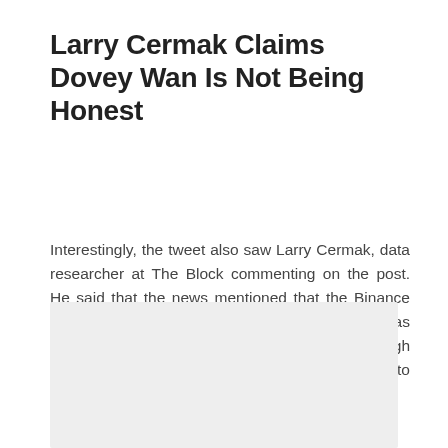Larry Cermak Claims Dovey Wan Is Not Being Honest
Interestingly, the tweet also saw Larry Cermak, data researcher at The Block commenting on the post. He said that the news mentioned that the Binance Shanghai office was visited in person and it was closed. Moreover, Binance hired people through Babi Finance and that the office didn't belong to Babi itself.
[Figure (screenshot): Embedded image placeholder, light gray background, content not visible]